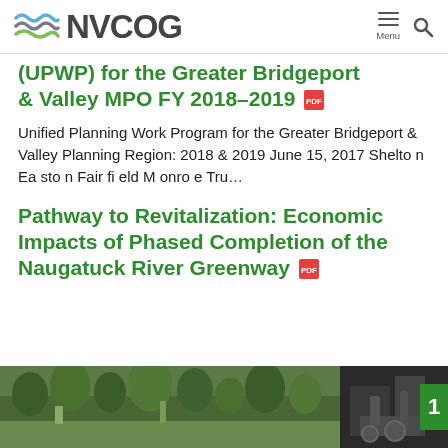NVCOG
(UPWP) for the Greater Bridgeport & Valley MPO FY 2018-2019
Unified Planning Work Program for the Greater Bridgeport & Valley Planning Region: 2018 & 2019 June 15, 2017 Shelto n Ea sto n Fair fi eld M onro e Tru...
Pathway to Revitalization: Economic Impacts of Phased Completion of the Naugatuck River Greenway
[Figure (photo): Photo strip showing two images: left image of greenway/park with trees and structures, right image of construction/excavation work]